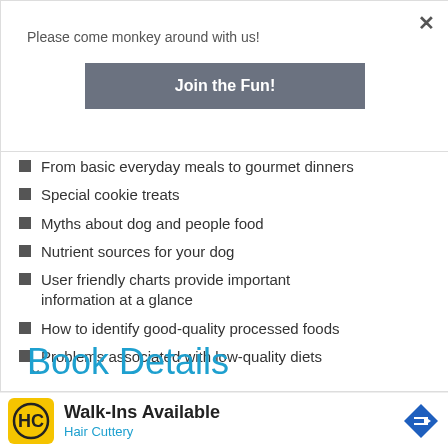Please come monkey around with us!
Join the Fun!
From basic everyday meals to gourmet dinners
Special cookie treats
Myths about dog and people food
Nutrient sources for your dog
User friendly charts provide important information at a glance
How to identify good-quality processed foods
Problems associated with low-quality diets
Book Details
[Figure (infographic): Walk-Ins Available Hair Cuttery advertisement banner with yellow HC logo and blue navigation arrow icon]